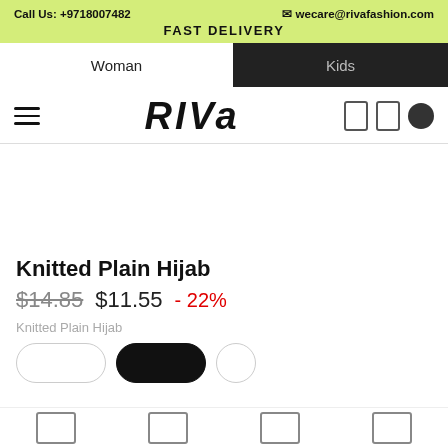Call Us: +9718007482    wecare@rivafashion.com    FAST DELIVERY
Woman
Kids
[Figure (logo): Riva fashion brand logo with hamburger menu and icons]
Knitted Plain Hijab
$14.85  $11.55  - 22%
Knitted Plain Hijab
Bottom navigation bar with icons